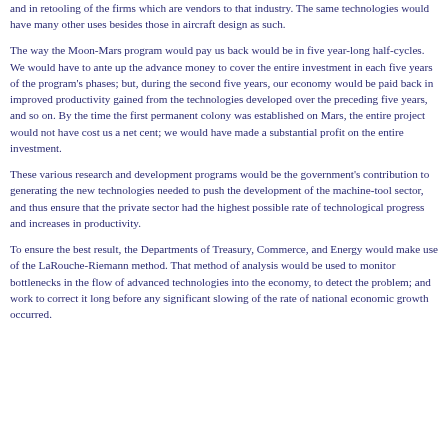and in retooling of the firms which are vendors to that industry. The same technologies would have many other uses besides those in aircraft design as such.
The way the Moon-Mars program would pay us back would be in five year-long half-cycles. We would have to ante up the advance money to cover the entire investment in each five years of the program's phases; but, during the second five years, our economy would be paid back in improved productivity gained from the technologies developed over the preceding five years, and so on. By the time the first permanent colony was established on Mars, the entire project would not have cost us a net cent; we would have made a substantial profit on the entire investment.
These various research and development programs would be the government's contribution to generating the new technologies needed to push the development of the machine-tool sector, and thus ensure that the private sector had the highest possible rate of technological progress and increases in productivity.
To ensure the best result, the Departments of Treasury, Commerce, and Energy would make use of the LaRouche-Riemann method. That method of analysis would be used to monitor bottlenecks in the flow of advanced technologies into the economy, to detect the problem; and work to correct it long before any significant slowing of the rate of national economic growth occurred.